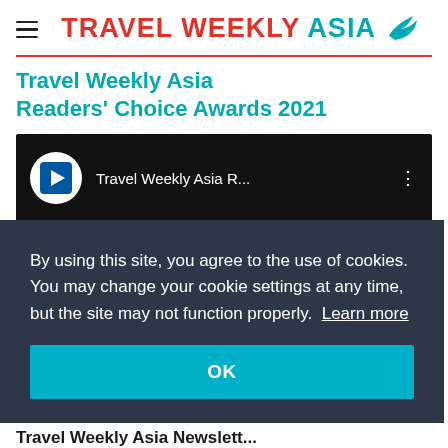TRAVEL WEEKLY ASIA
Travel Weekly Asia Readers' Choice Awards 2021
[Figure (screenshot): YouTube video embed showing Travel Weekly Asia R... title with channel logo]
By using this site, you agree to the use of cookies. You may change your cookie settings at any time, but the site may not function properly. Learn more
OK
Travel Weekly Asia Newslett...